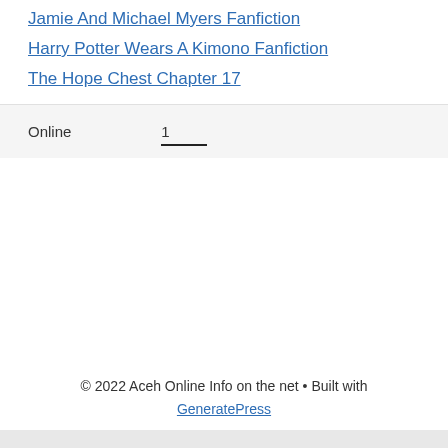Jamie And Michael Myers Fanfiction
Harry Potter Wears A Kimono Fanfiction
The Hope Chest Chapter 17
Online   1
© 2022 Aceh Online Info on the net • Built with GeneratePress